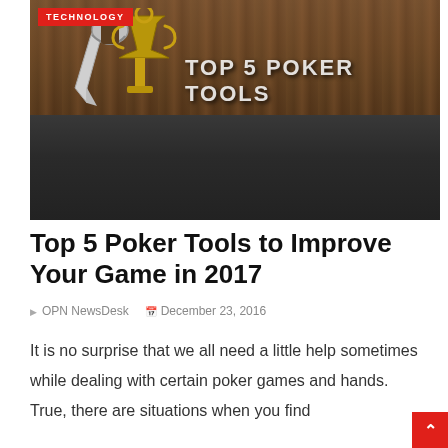[Figure (photo): Hero banner image showing tools (wrench and trophy/goblet) on a dark wood surface background with the text 'Top 5 Poker Tools' overlaid in white capital letters. A red 'TECHNOLOGY' badge is in the top-left corner.]
Top 5 Poker Tools to Improve Your Game in 2017
OPN NewsDesk   December 23, 2016
It is no surprise that we all need a little help sometimes while dealing with certain poker games and hands. True, there are situations when you find